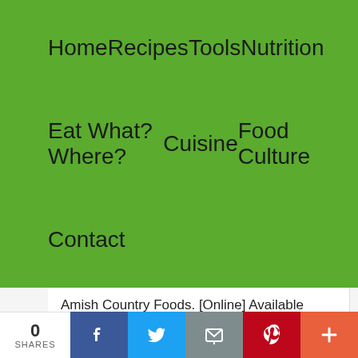Home   Recipes   Tools   Nutrition   Eat What? Where?   Cuisine   Food Culture   Contact
Amish Country Foods. [Online] Available
http://www.amishfoods.com
(accessed April 16, 2001).
Amish Net. [Online] Available
http://amish.net/
0 SHARES  Facebook  Twitter  Email  Pinterest  More